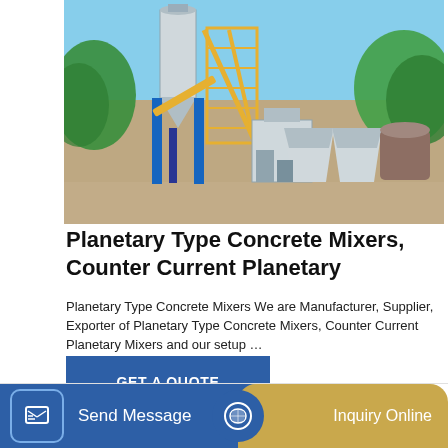[Figure (photo): Outdoor industrial concrete mixing plant with a large silver silo, yellow scaffold structure, blue steel frame, and multiple aggregate hoppers; green trees in background, clear blue sky.]
Planetary Type Concrete Mixers, Counter Current Planetary
Planetary Type Concrete Mixers We are Manufacturer, Supplier, Exporter of Planetary Type Concrete Mixers, Counter Current Planetary Mixers and our setup …
GET A QUOTE
Send Message
Inquiry Online